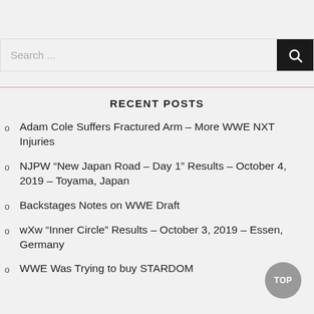Search ...
RECENT POSTS
Adam Cole Suffers Fractured Arm – More WWE NXT Injuries
NJPW “New Japan Road – Day 1” Results – October 4, 2019 – Toyama, Japan
Backstages Notes on WWE Draft
wXw “Inner Circle” Results – October 3, 2019 – Essen, Germany
WWE Was Trying to buy STARDOM